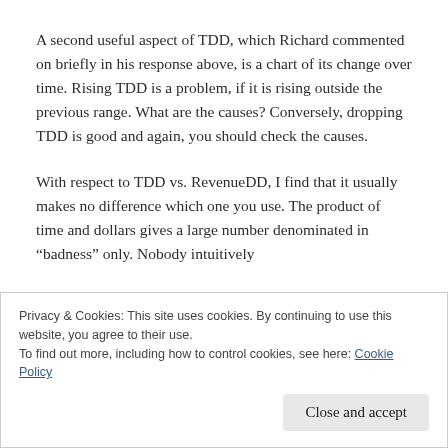A second useful aspect of TDD, which Richard commented on briefly in his response above, is a chart of its change over time. Rising TDD is a problem, if it is rising outside the previous range. What are the causes? Conversely, dropping TDD is good and again, you should check the causes.
With respect to TDD vs. RevenueDD, I find that it usually makes no difference which one you use. The product of time and dollars gives a large number denominated in “badness” only. Nobody intuitively knows what the number itself means. In my
Privacy & Cookies: This site uses cookies. By continuing to use this website, you agree to their use.
To find out more, including how to control cookies, see here: Cookie Policy
Close and accept